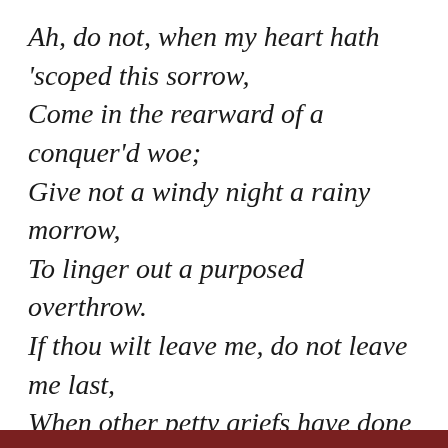Ah, do not, when my heart hath 'scoped this sorrow, Come in the rearward of a conquer'd woe; Give not a windy night a rainy morrow, To linger out a purposed overthrow. If thou wilt leave me, do not leave me last, When other petty griefs have done their spite But in the onset come; so shall I taste